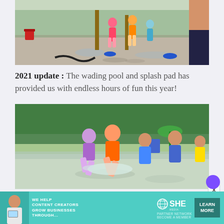[Figure (photo): Children playing at a splash pad / wading pool area outdoors with water jets and play structures, sunny day]
2021 update : The wading pool and splash pad has provided us with endless hours of fun this year!
[Figure (photo): Children running and splashing in a shallow wading pool outdoors surrounded by trees on a summer day]
[Figure (infographic): Advertisement banner: WE HELP CONTENT CREATORS GROW BUSINESSES THROUGH... | SHE MEDIA PARTNER NETWORK BECOME A MEMBER | LEARN MORE button]